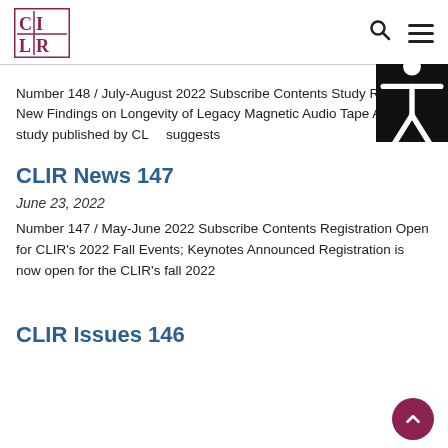[Figure (logo): CLIR logo — stylized C, L, I, R letters in a red/maroon bordered box]
Number 148 / July-August 2022 Subscribe Contents Study Reveals New Findings on Longevity of Legacy Magnetic Audio Tape A new study published by CLIR suggests
CLIR News 147
June 23, 2022
Number 147 / May-June 2022 Subscribe Contents Registration Open for CLIR’s 2022 Fall Events; Keynotes Announced Registration is now open for the CLIR’s fall 2022
CLIR Issues 146